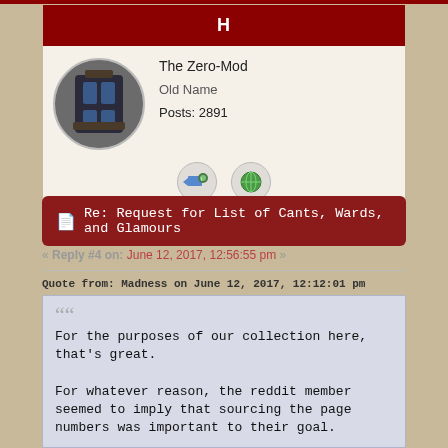H
The Zero-Mod
Old Name
Posts: 2891
Re: Request for List of Cants, Wards, and Glamours
« Reply #4 on: June 12, 2017, 12:56:55 pm »
Quote from: Madness on June 12, 2017, 12:12:01 pm
For the purposes of our collection here, that's great.

For whatever reason, the reddit member seemed to imply that sourcing the page numbers was important to their goal.